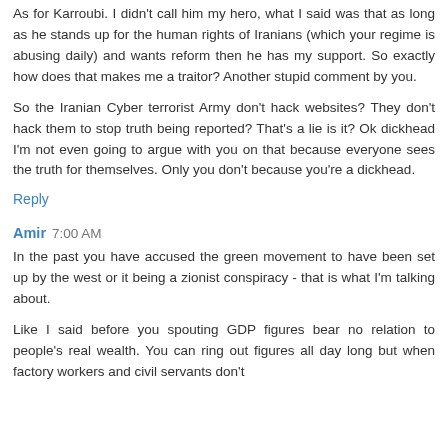As for Karroubi. I didn't call him my hero, what I said was that as long as he stands up for the human rights of Iranians (which your regime is abusing daily) and wants reform then he has my support. So exactly how does that makes me a traitor? Another stupid comment by you.
So the Iranian Cyber terrorist Army don't hack websites? They don't hack them to stop truth being reported? That's a lie is it? Ok dickhead I'm not even going to argue with you on that because everyone sees the truth for themselves. Only you don't because you're a dickhead.
Reply
Amir  7:00 AM
In the past you have accused the green movement to have been set up by the west or it being a zionist conspiracy - that is what I'm talking about.
Like I said before you spouting GDP figures bear no relation to people's real wealth. You can ring out figures all day long but when factory workers and civil servants don't...